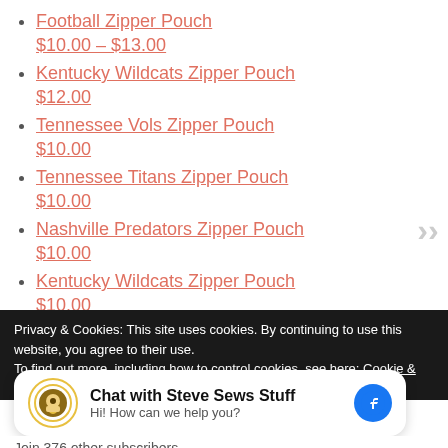Football Zipper Pouch $10.00 – $13.00
Kentucky Wildcats Zipper Pouch $12.00
Tennessee Vols Zipper Pouch $10.00
Tennessee Titans Zipper Pouch $10.00
Nashville Predators Zipper Pouch $10.00
Kentucky Wildcats Zipper Pouch $10.00
Privacy & Cookies: This site uses cookies. By continuing to use this website, you agree to their use. To find out more, including how to control cookies, see here: Cookie &
Chat with Steve Sews Stuff
Hi! How can we help you?
Join 376 other subscribers.